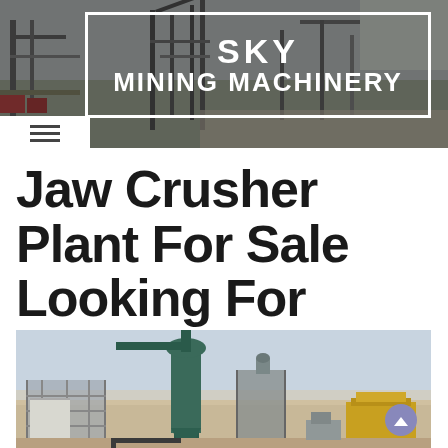[Figure (photo): Header banner showing industrial mining/crushing machinery facility with steel structures, conveyors, and equipment at a quarry site. Dark overlay with industrial scene.]
SKY MINING MACHINERY
[Figure (photo): Photo of a jaw crusher plant installation in an arid/desert environment showing green cyclone/dust collector tower, metal framework structures, and yellow crusher equipment.]